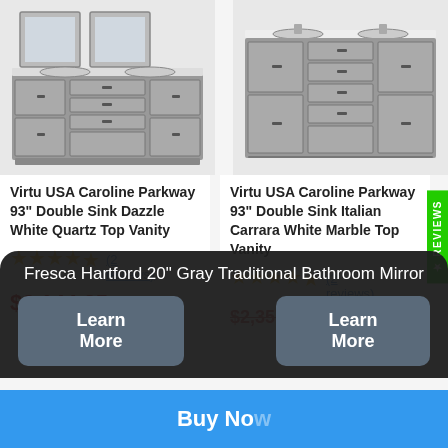[Figure (photo): Gray double sink bathroom vanity with two mirrors - Virtu USA Caroline Parkway product image (left)]
Virtu USA Caroline Parkway 93" Double Sink Dazzle White Quartz Top Vanity
★★★★★ (2 reviews)
$2,144.25
[Figure (photo): Gray double sink bathroom vanity without mirrors - Virtu USA Caroline Parkway product image (right)]
Virtu USA Caroline Parkway 93" Double Sink Italian Carrara White Marble Top Vanity
★★★★★ (2 reviews)
$2,357.00
Fresca Hartford 20" Gray Traditional Bathroom Mirror
Learn More
Buy Now
Learn More